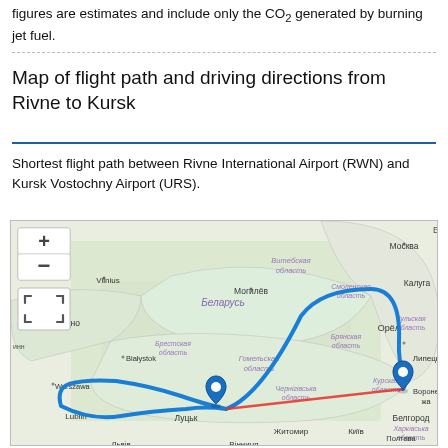figures are estimates and include only the CO2 generated by burning jet fuel.
Map of flight path and driving directions from Rivne to Kursk
Shortest flight path between Rivne International Airport (RWN) and Kursk Vostochny Airport (URS).
[Figure (map): Map showing flight path (red straight line) and driving route (blue curved line) from Rivne, Ukraine to Kursk, Russia, overlaid on an OpenStreetMap-style map of Eastern Europe including parts of Poland, Belarus, and western Russia. Map includes zoom controls (+/-) and a fullscreen button. Blue pin marks Rivne area, blue pin marks Kursk area.]